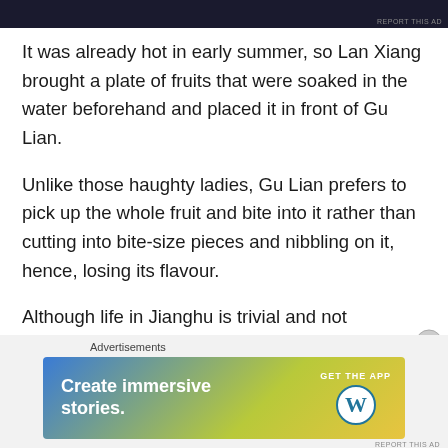[Figure (other): Dark advertisement banner at top of page]
It was already hot in early summer, so Lan Xiang brought a plate of fruits that were soaked in the water beforehand and placed it in front of Gu Lian.
Unlike those haughty ladies, Gu Lian prefers to pick up the whole fruit and bite into it rather than cutting into bite-size pieces and nibbling on it, hence, losing its flavour.
Although life in Jianghu is trivial and not constrained by the little things, her action has led some servants feeling anxious for a couple of days.
Advertisements
[Figure (other): WordPress advertisement banner: Create immersive stories. GET THE APP with WordPress logo.]